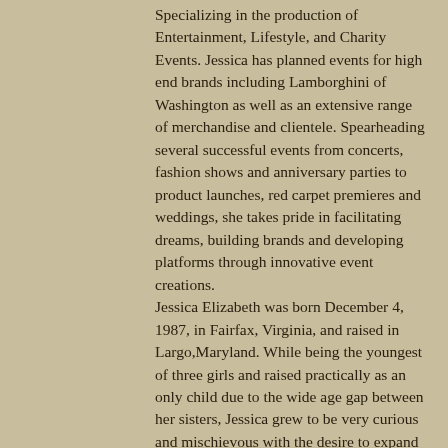Specializing in the production of Entertainment, Lifestyle, and Charity Events. Jessica has planned events for high end brands including Lamborghini of Washington as well as an extensive range of merchandise and clientele. Spearheading several successful events from concerts, fashion shows and anniversary parties to product launches, red carpet premieres and weddings, she takes pride in facilitating dreams, building brands and developing platforms through innovative event creations. Jessica Elizabeth was born December 4, 1987, in Fairfax, Virginia, and raised in Largo,Maryland. While being the youngest of three girls and raised practically as an only child due to the wide age gap between her sisters, Jessica grew to be very curious and mischievous with the desire to expand her knowledge and create opportunities for herself. Given those characteristics at an early age, Jessica was no stranger to school and wanting to be